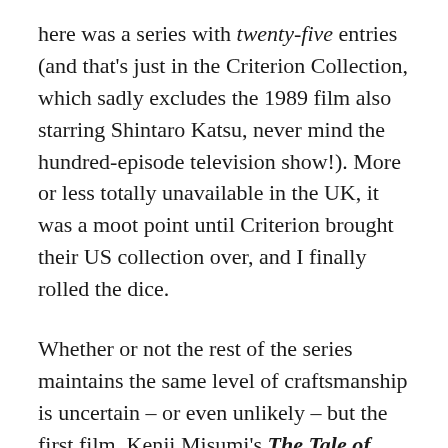here was a series with twenty-five entries (and that's just in the Criterion Collection, which sadly excludes the 1989 film also starring Shintaro Katsu, never mind the hundred-episode television show!). More or less totally unavailable in the UK, it was a moot point until Criterion brought their US collection over, and I finally rolled the dice.
Whether or not the rest of the series maintains the same level of craftsmanship is uncertain – or even unlikely – but the first film, Kenji Misumi's The Tale of Zatoichi (1962) is a brilliant and surprisingly introspective drama rather than the schlocky martial arts exploitation film I expected. This is all the more surprising considering Misumi actually directed several of the Lone Wolf films